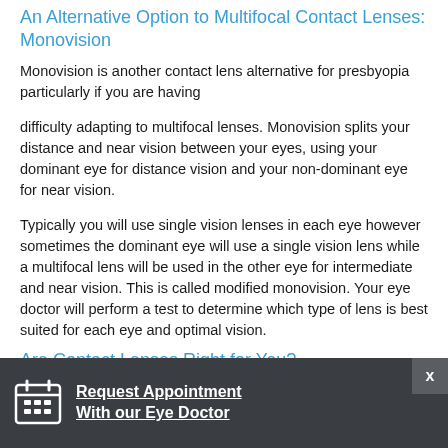An Alternative Option to Multifocal Contact Lenses: Monovision
Monovision is another contact lens alternative for presbyopia particularly if you are having
difficulty adapting to multifocal lenses. Monovision splits your distance and near vision between your eyes, using your dominant eye for distance vision and your non-dominant eye for near vision.
Typically you will use single vision lenses in each eye however sometimes the dominant eye will use a single vision lens while a multifocal lens will be used in the other eye for intermediate and near vision. This is called modified monovision. Your eye doctor will perform a test to determine which type of lens is best suited for each eye and optimal vision.
Are Contact Lenses Right for You?
If you have presbyopia... for you. Many people...
[Figure (infographic): Dark popup bar with calendar icon, text 'Request Appointment With our Eye Doctor' underlined in white, and an X close button in top right corner.]